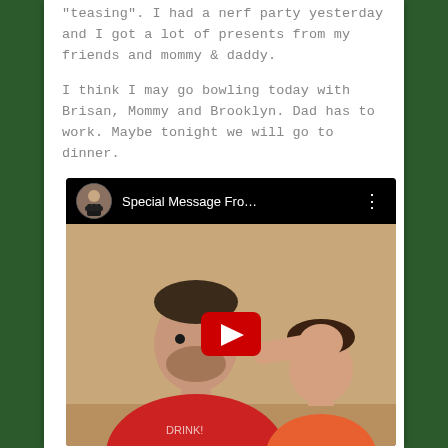“teasing”. I had a nerf party yesterday and I got a lot of presents from my friends and mommy & daddy.
I think I may go bowling today with Brisan, Mommy and Brooklyn. Dad has to work. Maybe tonight we will go to dinner.
[Figure (screenshot): YouTube video embed showing a man in a red shirt in the foreground and a child in an orange shirt in the background, with video title 'Special Message Fro...' and a channel avatar showing a man in a suit.]